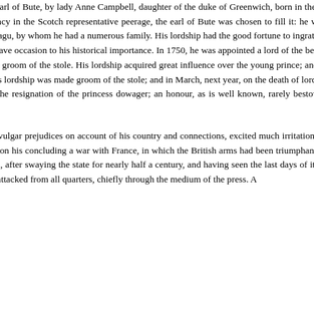STUART, JOHN, third earl of Bute, and prime minister, was son of the second earl of Bute, by lady Anne Campbell, daughter of the duke of Greenwich, born in the Parliament Square, Edinburgh, May 25, 1713, and succeeded his father, in January, 1723. In April, 1737, on a vacancy in the Scotch representative peerage, the earl of Bute was chosen to fill it: he was re-elected in 1761 and 1774. His lordship married, August 24, 1736, Mary, daughter of Mr. Edward Wortley Montagu, by whom he had a numerous family. His lordship had the good fortune to ingratiate himself with Frederick, prince of Wales, who admitted him to that close superintendence of his household which gave occasion to his historical importance. In 1750, he was appointed a lord of the bedchamber to the prince of Wales; and on the settlement or the household of George III, as prince, he was appointed his groom of the stole. His lordship acquired great influence over the young prince; and is believed to have been a principal cause of his father's death. Before the prince's accession to the throne in 1760, his lordship was made groom of the stole; and in March, next year, on the death of lord Holdernesse, he was made principal secretaries of state. His lordship was also made ranger of Richmond park, on the resignation of the princess dowager; an honour, as is well known, rarely bestowed, except as a reward for eminent services to the state.
The elevation of a nobleman, only known at court, and personally obnoxious to vulgar prejudices on account of his country and connections, excited much irritation in England. This feeling was greatly increased when he was constituted first lord of the treasury. It reached its height on his concluding a war with France, in which the British arms had been triumphant, and the nation in general wished to see carried on, till it had for ever broken the power of the Whig oligarchy, which, after swaying the state for nearly half a century, and having seen the last days of its dominancy, was still powerful. The ministry was assailed from a popular party, headed by the infamous Wilkes, and attacked from all quarters, chiefly through the medium of the press. A